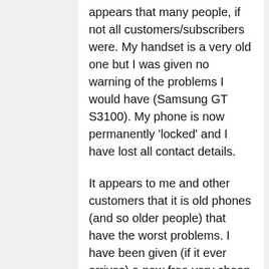appears that many people, if not all customers/subscribers were. My handset is a very old one but I was given no warning of the problems I would have (Samsung GT S3100). My phone is now permanently 'locked' and I have lost all contact details.
It appears to me and other customers that it is old phones (and so older people) that have the worst problems. I have been given (if it ever arrives) a new free very cheap phone, but as I say have lost all my contacts. While this has been going on I have been unable to receive calls or make them. Not being able to